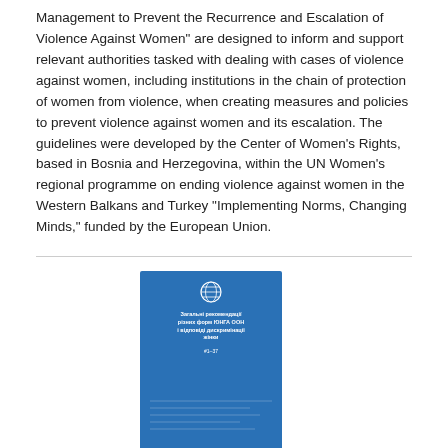Management to Prevent the Recurrence and Escalation of Violence Against Women" are designed to inform and support relevant authorities tasked with dealing with cases of violence against women, including institutions in the chain of protection of women from violence, when creating measures and policies to prevent violence against women and its escalation. The guidelines were developed by the Center of Women's Rights, based in Bosnia and Herzegovina, within the UN Women's regional programme on ending violence against women in the Western Balkans and Turkey "Implementing Norms, Changing Minds," funded by the European Union.
[Figure (photo): Cover image of a blue book titled 'General Recommendations #1-37 of the Committee on the Elimination of Discrimination Against Women' with a UN logo]
General Recommendations #1-37 of the Committee on the Elimination of Discrimination Against Women
Date: Wednesday, 28 March 2018
General Recommendations #1-37 of the Committee on the